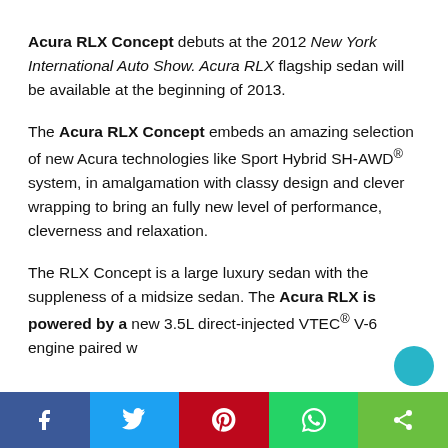Acura RLX Concept debuts at the 2012 New York International Auto Show. Acura RLX flagship sedan will be available at the beginning of 2013.
The Acura RLX Concept embeds an amazing selection of new Acura technologies like Sport Hybrid SH-AWD® system, in amalgamation with classy design and clever wrapping to bring an fully new level of performance, cleverness and relaxation.
The RLX Concept is a large luxury sedan with the suppleness of a midsize sedan. The Acura RLX is powered by a new 3.5L direct-injected VTEC® V-6 engine paired w…